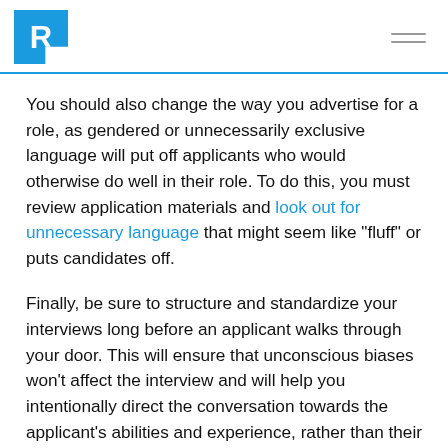R [logo] [hamburger menu]
You should also change the way you advertise for a role, as gendered or unnecessarily exclusive language will put off applicants who would otherwise do well in their role. To do this, you must review application materials and look out for unnecessary language that might seem like “fluff” or puts candidates off.
Finally, be sure to structure and standardize your interviews long before an applicant walks through your door. This will ensure that unconscious biases won’t affect the interview and will help you intentionally direct the conversation towards the applicant’s abilities and experience, rather than their identity.